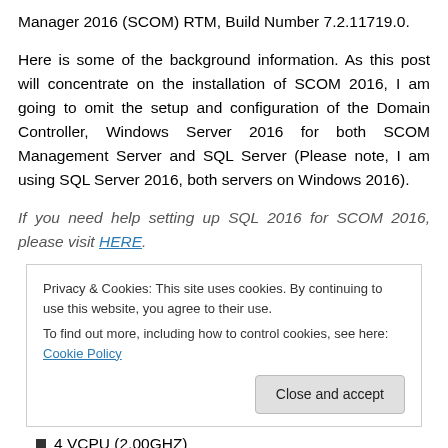Manager 2016 (SCOM) RTM, Build Number 7.2.11719.0.
Here is some of the background information. As this post will concentrate on the installation of SCOM 2016, I am going to omit the setup and configuration of the Domain Controller, Windows Server 2016 for both SCOM Management Server and SQL Server (Please note, I am using SQL Server 2016, both servers on Windows 2016).
If you need help setting up SQL 2016 for SCOM 2016, please visit HERE.
Privacy & Cookies: This site uses cookies. By continuing to use this website, you agree to their use.
To find out more, including how to control cookies, see here: Cookie Policy
4 VCPU (2.00GHZ)